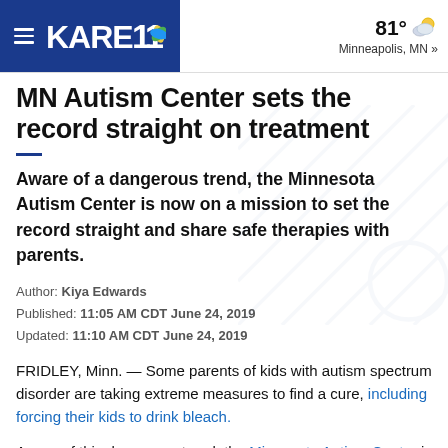KARE 11 | 81° Minneapolis, MN »
MN Autism Center sets the record straight on treatment
Aware of a dangerous trend, the Minnesota Autism Center is now on a mission to set the record straight and share safe therapies with parents.
Author: Kiya Edwards
Published: 11:05 AM CDT June 24, 2019
Updated: 11:10 AM CDT June 24, 2019
FRIDLEY, Minn. — Some parents of kids with autism spectrum disorder are taking extreme measures to find a cure, including forcing their kids to drink bleach.
Aware of this dangerous trend, the Minnesota Autism Center is now on a mission to set the record straight and share safe therapies with parents.